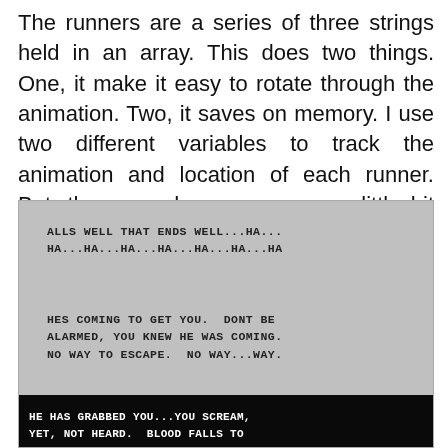The runners are a series of three strings held in an array. This does two things. One, it make it easy to rotate through the animation. Two, it saves on memory. I use two different variables to track the animation and location of each runner. But, the second runner moves a little bit faster.
[Figure (screenshot): A retro-style game or text display screenshot with gray background. Shows three text messages in monospaced font: 'ALLS WELL THAT ENDS WELL...HA... HA...HA...HA...HA...HA...HA...HA', 'HES COMING TO GET YOU. DONT BE ALARMED, YOU KNEW HE WAS COMING. NO WAY TO ESCAPE. NO WAY...WAY.', and at the bottom in white on black: 'HE HAS GRABBED YOU...YOU SCREAM, YET, NOT HEARD. BLOOD FALLS TO'. A dark pixelated area fills the lower portion of the image.]